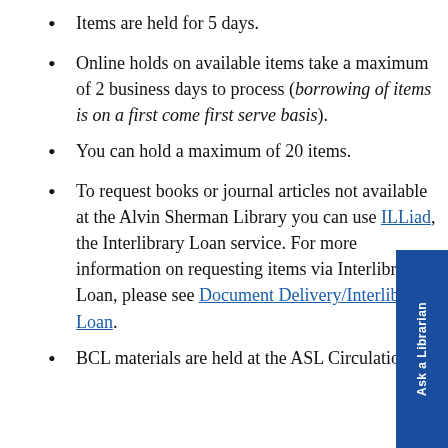Items are held for 5 days.
Online holds on available items take a maximum of 2 business days to process (borrowing of items is on a first come first serve basis).
You can hold a maximum of 20 items.
To request books or journal articles not available at the Alvin Sherman Library you can use ILLiad, the Interlibrary Loan service. For more information on requesting items via Interlibrary Loan, please see Document Delivery/Interlibrary Loan.
BCL materials are held at the ASL Circulation